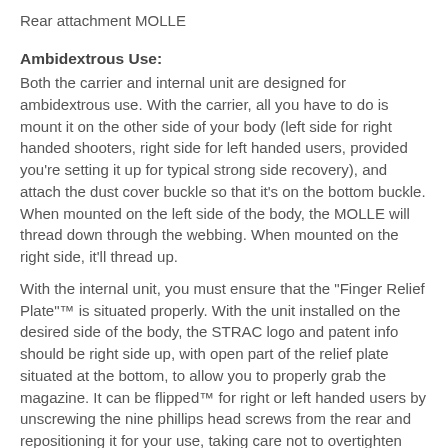Rear attachment MOLLE
Ambidextrous Use:
Both the carrier and internal unit are designed for ambidextrous use. With the carrier, all you have to do is mount it on the other side of your body (left side for right handed shooters, right side for left handed users, provided you're setting it up for typical strong side recovery), and attach the dust cover buckle so that it's on the bottom buckle. When mounted on the left side of the body, the MOLLE will thread down through the webbing. When mounted on the right side, it'll thread up.
With the internal unit, you must ensure that the "Finger Relief Plate"™ is situated properly. With the unit installed on the desired side of the body, the STRAC logo and patent info should be right side up, with open part of the relief plate situated at the bottom, to allow you to properly grab the magazine. It can be flipped™ for right or left handed users by unscrewing the nine phillips head screws from the rear and repositioning it for your use, taking care not to overtighten and strip the screws upon reinstallation.